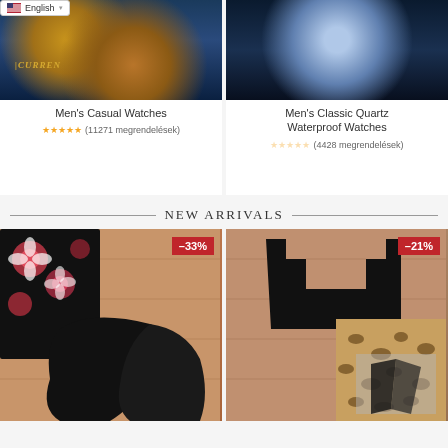[Figure (photo): Men's Casual Watches product photo showing CURREN watch with rose gold case and blue band]
Men's Casual Watches
★★★★★ (11271 megrendelések)
[Figure (photo): Men's Classic Quartz Waterproof Watches product photo showing blue metallic watch]
Men's Classic Quartz Waterproof Watches
★☆☆☆☆ (4428 megrendelések)
NEW ARRIVALS
[Figure (photo): Swimwear/bikini product showing floral and black pieces on wood floor, -33% discount badge]
[Figure (photo): Black cold-shoulder swimwear with leopard print piece on wood floor, -21% discount badge]